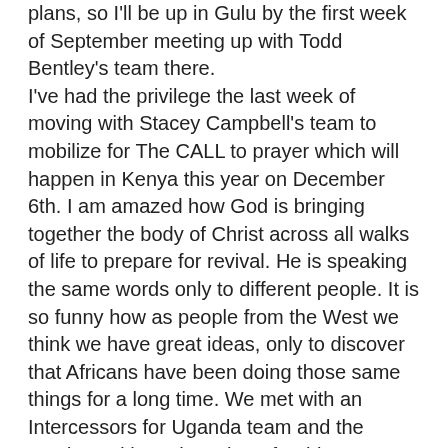plans, so I'll be up in Gulu by the first week of September meeting up with Todd Bentley's team there. I've had the privilege the last week of moving with Stacey Campbell's team to mobilize for The CALL to prayer which will happen in Kenya this year on December 6th. I am amazed how God is bringing together the body of Christ across all walks of life to prepare for revival. He is speaking the same words only to different people. It is so funny how as people from the West we think we have great ideas, only to discover that Africans have been doing those same things for a long time. We met with an Intercessors for Uganda team and the words God has given them for this country are the same words we have had for her future and they have been praying for years--even through the Idia Amin regime and it was their prayers that moved him out of power.
God is raising up leaders in Uganda who have integrity and He is going to make Africa into a giving continent. Not one that is dependent on receiving aid, but a continent that gives not only in resources, but in spiritual wealth. God is marrying together the streams of prayer intercession and missions so that one cannot move without the other. And we are a part of